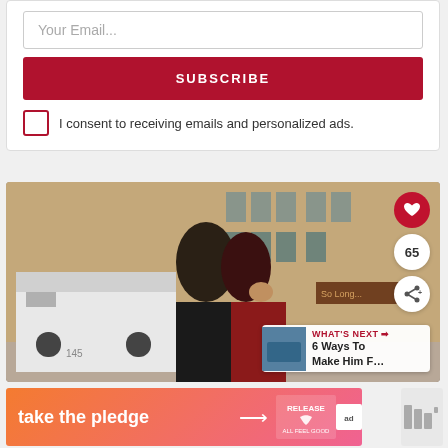Your Email...
SUBSCRIBE
I consent to receiving emails and personalized ads.
[Figure (photo): A couple kissing on a city street with a white truck and buildings in background, with UI overlays: heart button, count badge 65, share button, and 'What's Next' card showing '6 Ways To Make Him F...']
[Figure (infographic): Orange-pink gradient advertisement banner reading 'take the pledge' with arrow and Release logo, plus an ad marker badge and a gray widget on the right.]